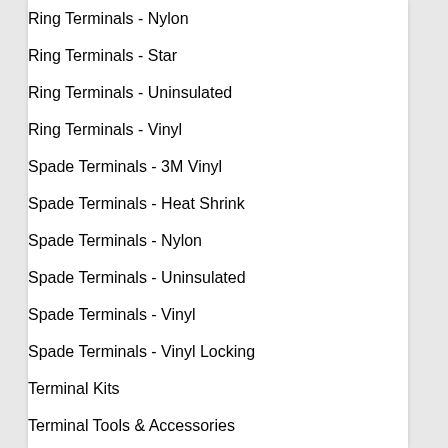Ring Terminals - Nylon
Ring Terminals - Star
Ring Terminals - Uninsulated
Ring Terminals - Vinyl
Spade Terminals - 3M Vinyl
Spade Terminals - Heat Shrink
Spade Terminals - Nylon
Spade Terminals - Uninsulated
Spade Terminals - Vinyl
Spade Terminals - Vinyl Locking
Terminal Kits
Terminal Tools & Accessories